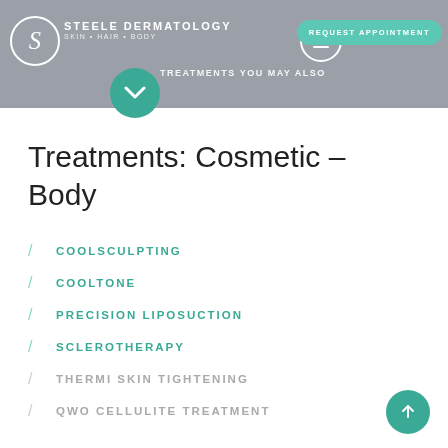STEELE DERMATOLOGY SKIN HAIR BODY | TREATMENTS YOU MAY ALSO | REQUEST APPOINTMENT
Treatments: Cosmetic – Body
/ COOLSCULPTING
/ COOLTONE
/ PRECISION LIPOSUCTION
/ SCLEROTHERAPY
/ THERMI SKIN TIGHTENING
/ QWO CELLULITE TREATMENT